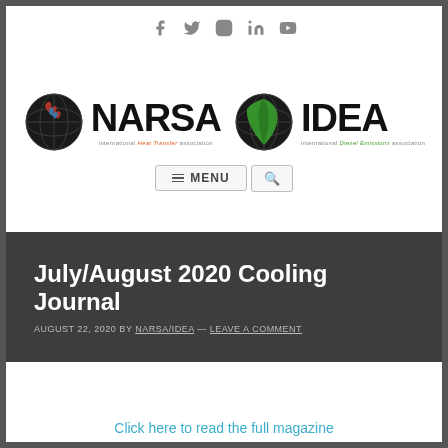Social icons: Facebook, Twitter, Instagram, LinkedIn, YouTube
[Figure (logo): NARSA International Heat Transfer Association and IDEA International diesel emissions association logos side by side]
[Figure (other): Navigation menu bar with hamburger menu icon, MENU text, and search icon]
July/August 2020 Cooling Journal
AUGUST 22, 2020 BY NARSA/IDEA — LEAVE A COMMENT
Click here to read the full magazine